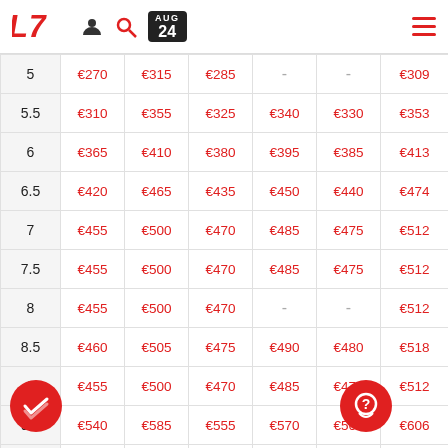LT Sports - AUG 24 header with navigation icons
|  | Col1 | Col2 | Col3 | Col4 | Col5 | Col6 |
| --- | --- | --- | --- | --- | --- | --- |
| 5 | €270 | €315 | €285 | - | - | €309 |
| 5.5 | €310 | €355 | €325 | €340 | €330 | €353 |
| 6 | €365 | €410 | €380 | €395 | €385 | €413 |
| 6.5 | €420 | €465 | €435 | €450 | €440 | €474 |
| 7 | €455 | €500 | €470 | €485 | €475 | €512 |
| 7.5 | €455 | €500 | €470 | €485 | €475 | €512 |
| 8 | €455 | €500 | €470 | - | - | €512 |
| 8.5 | €460 | €505 | €475 | €490 | €480 | €518 |
| 9 | €455 | €500 | €470 | €485 | €475 | €512 |
| 9.5 | €540 | €585 | €555 | €570 | €560 | €606 |
|  | €455 | €500 | €470 | €485 |  | €512 |